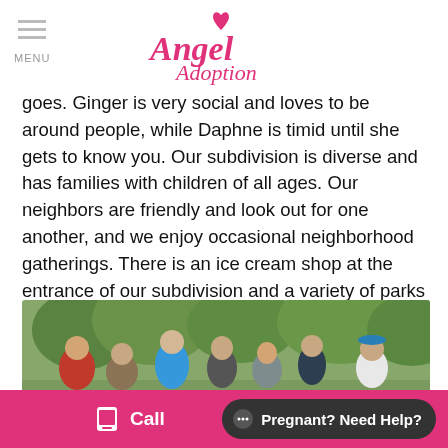Angel Adoption — MENU / Logo
goes. Ginger is very social and loves to be around people, while Daphne is timid until she gets to know you. Our subdivision is diverse and has families with children of all ages. Our neighbors are friendly and look out for one another, and we enjoy occasional neighborhood gatherings. There is an ice cream shop at the entrance of our subdivision and a variety of parks and trails nearby.
[Figure (photo): Group photo of multiple people outdoors in a green park setting]
Call | Pregnant? Need Help?